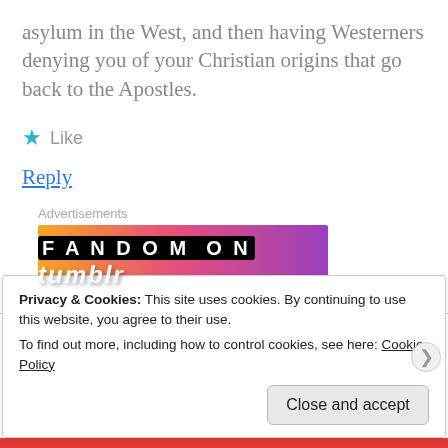asylum in the West, and then having Westerners denying you of your Christian origins that go back to the Apostles.
★ Like
Reply
Advertisements
[Figure (other): FANDOM ON tumblr advertisement banner with orange-to-purple gradient background]
Privacy & Cookies: This site uses cookies. By continuing to use this website, you agree to their use.
To find out more, including how to control cookies, see here: Cookie Policy
Close and accept